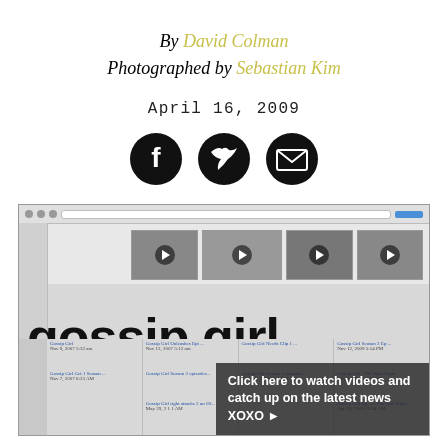By David Colman
Photographed by Sebastian Kim
April 16, 2009
[Figure (infographic): Three social sharing icons: Facebook, Twitter, and Email (envelope)]
[Figure (screenshot): Screenshot of a Gossip Girl YouTube/video page showing video thumbnails, large 'gossip girl' text overlay, and a dark overlay reading 'Click here to watch videos and catch up on the latest news XOXO']